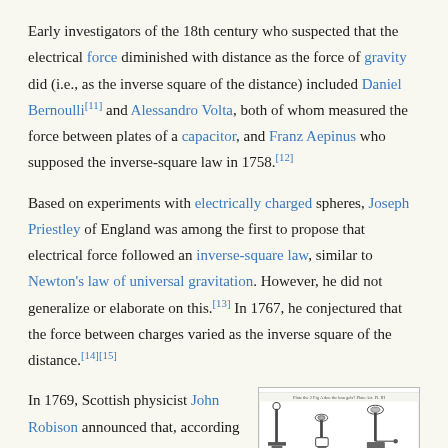Early investigators of the 18th century who suspected that the electrical force diminished with distance as the force of gravity did (i.e., as the inverse square of the distance) included Daniel Bernoulli[11] and Alessandro Volta, both of whom measured the force between plates of a capacitor, and Franz Aepinus who supposed the inverse-square law in 1758.[12]
Based on experiments with electrically charged spheres, Joseph Priestley of England was among the first to propose that electrical force followed an inverse-square law, similar to Newton's law of universal gravitation. However, he did not generalize or elaborate on this.[13] In 1767, he conjectured that the force between charges varied as the inverse square of the distance.[14][15]
In 1769, Scottish physicist John Robison announced that, according to his
[Figure (illustration): Historical illustration showing scientific apparatus including what appear to be electrostatic devices on stands, from an old engraving.]